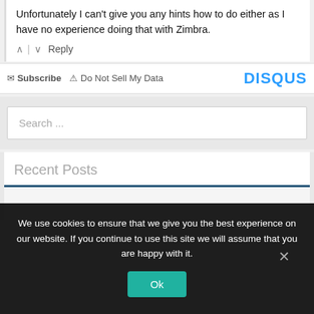Unfortunately I can't give you any hints how to do either as I have no experience doing that with Zimbra.
^ | v Reply
✉ Subscribe ⚠ Do Not Sell My Data  DISQUS
Search ...
Recent Posts
We use cookies to ensure that we give you the best experience on our website. If you continue to use this site we will assume that you are happy with it.
Ok